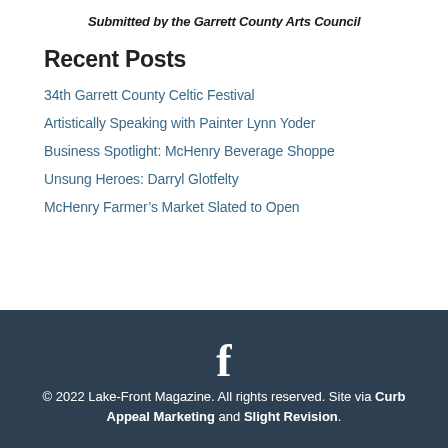Submitted by the Garrett County Arts Council
Recent Posts
34th Garrett County Celtic Festival
Artistically Speaking with Painter Lynn Yoder
Business Spotlight: McHenry Beverage Shoppe
Unsung Heroes: Darryl Glotfelty
McHenry Farmer's Market Slated to Open
© 2022 Lake-Front Magazine. All rights reserved. Site via Curb Appeal Marketing and Slight Revision.